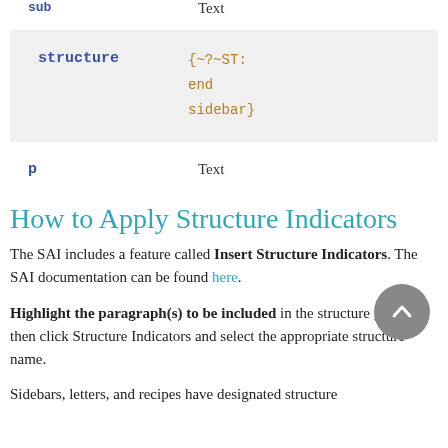|  |  |
| --- | --- |
| sub | Text |
| structure | {~?~ST:
end
sidebar} |
| p | Text |
How to Apply Structure Indicators
The SAI includes a feature called Insert Structure Indicators. The SAI documentation can be found here.
Highlight the paragraph(s) to be included in the structure group, then click Structure Indicators and select the appropriate structure name.
Sidebars, letters, and recipes have designated structure